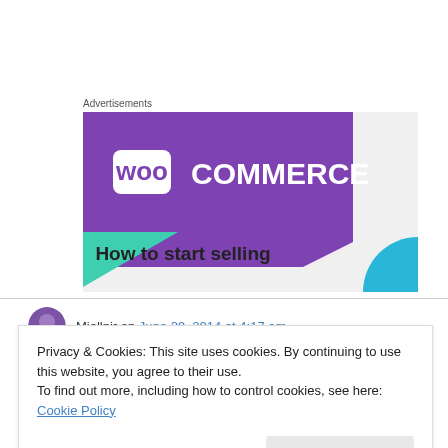Advertisements
[Figure (illustration): WooCommerce advertisement banner with purple background showing WooCommerce logo and text 'How to start selling']
Mjollnir on June 29, 2014 at 4:17 am
Privacy & Cookies: This site uses cookies. By continuing to use this website, you agree to their use.
To find out more, including how to control cookies, see here: Cookie Policy
Close and accept